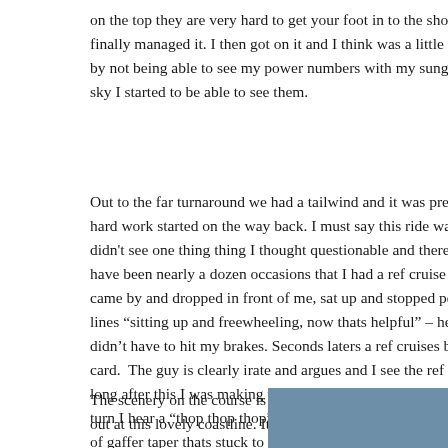on the top they are very hard to get your foot in to the shoe. I finally managed it. I then got on it and I think was a little enthu by not being able to see my power numbers with my sunglass sky I started to be able to see them.
Out to the far turnaround we had a tailwind and it was pretty fas hard work started on the way back. I must say this ride was th didn't see one thing thing I thought questionable and there we have been nearly a dozen occasions that I had a ref cruise by m came by and dropped in front of me, sat up and stopped pedal lines "sitting up and freewheeling, now thats helpful" – he s didn't have to hit my brakes. Seconds laters a ref cruises by r card. The guy is clearly irate and argues and I see the ref demo long after this I was making the biggest descent down to the coa turn I hear a "thop thop thop" on my front wheel. Gave me a bit of gaffer taper thats stuck to my front tyre. I had to stop to remo
The scenery on the course is superb, looking out at this lovely coastline. It's certainly an
[Figure (photo): Blue/steel-coloured rectangular image block in the bottom-right corner of the page]